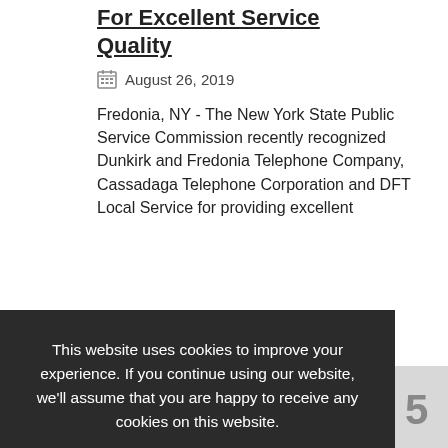For Excellent Service Quality
August 26, 2019
Fredonia, NY - The New York State Public Service Commission recently recognized Dunkirk and Fredonia Telephone Company, Cassadaga Telephone Corporation and DFT Local Service for providing excellent
This website uses cookies to improve your experience. If you continue using our website, we'll assume that you are happy to receive any cookies on this website.